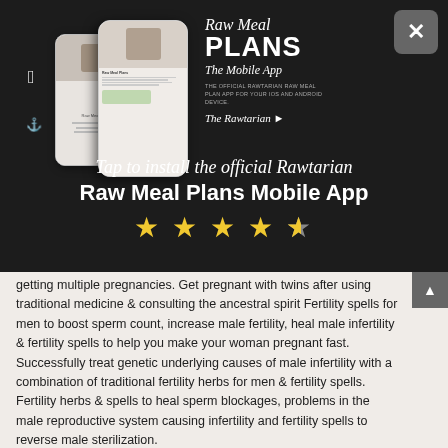[Figure (screenshot): Dark background app advertisement for 'Raw Meal Plans - The Mobile App' by The Rawtarian, showing phone mockups with app screenshots, Apple and Android icons, and a 4.5-star rating. Text reads: 'Tap to install the official Rawtarian Raw Meal Plans Mobile App']
getting multiple pregnancies. Get pregnant with twins after using traditional medicine & consulting the ancestral spirit Fertility spells for men to boost sperm count, increase male fertility, heal male infertility & fertility spells to help you make your woman pregnant fast. Successfully treat genetic underlying causes of male infertility with a combination of traditional fertility herbs for men & fertility spells. Fertility herbs & spells to heal sperm blockages, problems in the male reproductive system causing infertility and fertility spells to reverse male sterilization. Fertility spells for women to get pregnant fast, fertility spells